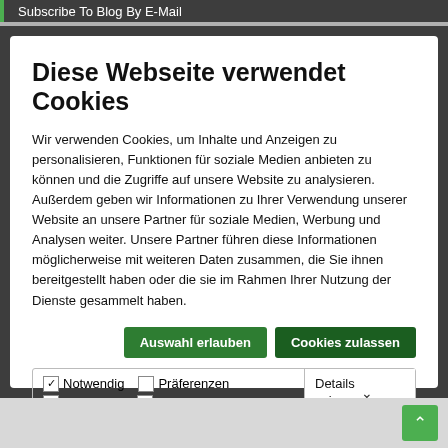Subscribe To Blog By E-Mail
Diese Webseite verwendet Cookies
Wir verwenden Cookies, um Inhalte und Anzeigen zu personalisieren, Funktionen für soziale Medien anbieten zu können und die Zugriffe auf unsere Website zu analysieren. Außerdem geben wir Informationen zu Ihrer Verwendung unserer Website an unsere Partner für soziale Medien, Werbung und Analysen weiter. Unsere Partner führen diese Informationen möglicherweise mit weiteren Daten zusammen, die Sie ihnen bereitgestellt haben oder die sie im Rahmen Ihrer Nutzung der Dienste gesammelt haben.
Auswahl erlauben | Cookies zulassen
✓ Notwendig  □ Präferenzen  □ Statistiken  □ Marketing  | Details zeigen ∨